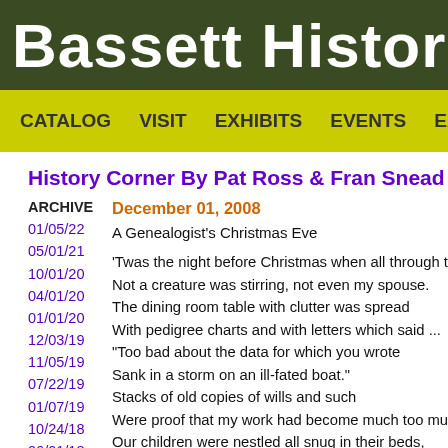Bassett Historical C
CATALOG   VISIT   EXHIBITS   EVENTS   EXPLO
History Corner By Pat Ross & Fran Snead
ARCHIVE
01/05/22
05/01/21
10/01/20
04/01/20
01/01/20
12/03/19
11/05/19
07/22/19
01/07/19
10/24/18
06/01/18
03/01/18
02/01/18
11/07/17
08/30/17
December 01, 2008
A Genealogist's Christmas Eve
'Twas the night before Christmas when all through th
Not a creature was stirring, not even my spouse.
The dining room table with clutter was spread
With pedigree charts and with letters which said ...
"Too bad about the data for which you wrote
Sank in a storm on an ill-fated boat."
Stacks of old copies of wills and such
Were proof that my work had become much too muc
Our children were nestled all snug in their beds,
While visions of sugarplums danced in their heads.
And I at my table was ready to drop
From work on my album with photos to crop.
Christmas was here and of such was my lot